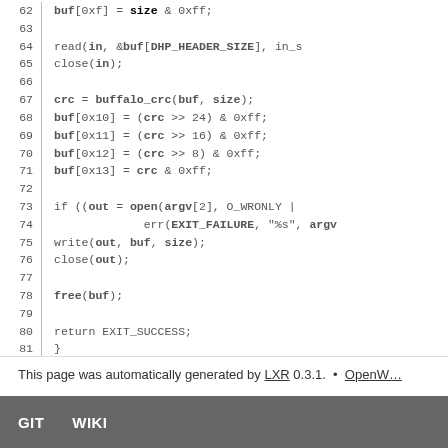Source code listing lines 62-82 with C code including buf[0xf], read, close, crc = buffalo_crc, buf[0x10-0x13], if/open/write/close, free, return EXIT_SUCCESS
This page was automatically generated by LXR 0.3.1. • OpenW...
GIT   WIKI